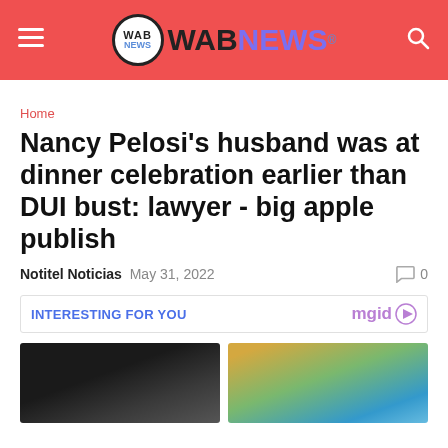WAB NEWS
Home
Nancy Pelosi's husband was at dinner celebration earlier than DUI bust: lawyer - big apple publish
Notitel Noticias  May 31, 2022    0
INTERESTING FOR YOU
[Figure (photo): Two images side by side: left shows back of a person's head in a car, right shows two people standing in a scenic outdoor landscape with water and cliffs]